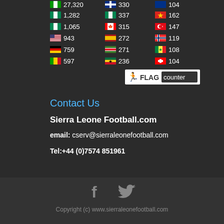[Figure (infographic): Flag counter widget showing country flags with visitor counts in three columns. Row 1: [flag] 1,282 | [flag] 337 | [flag] 162. Row 2: [flag] 1,065 | [flag] 315 | [flag] 147. Row 3: [flag] 943 | [flag] 272 | [flag] 119. Row 4: [flag] 759 | [flag] 271 | [flag] 108. Row 5: [flag] 597 | [flag] 236 | [flag] 104. With FLAG counter logo.]
Contact Us
Sierra Leone Football.com
email: cserv@sierraleonefootball.com
Tel:+44 (0)7574 851961
[Figure (infographic): Social media icons: Facebook (f) and Twitter (bird) in grey]
Copyright (c) www.sierraleonefootball.com